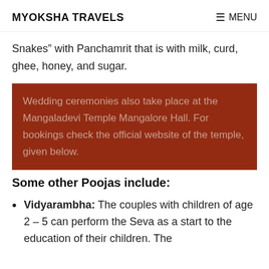MYOKSHA TRAVELS   ☰ MENU
Snakes" with Panchamrit that is with milk, curd, ghee, honey, and sugar.
Wedding ceremonies also take place at the Mangaladevi Temple Mangalore Hall. For bookings check the official website of the temple, given below.
Some other Poojas include:
Vidyarambha: The couples with children of age 2 – 5 can perform the Seva as a start to the education of their children. The